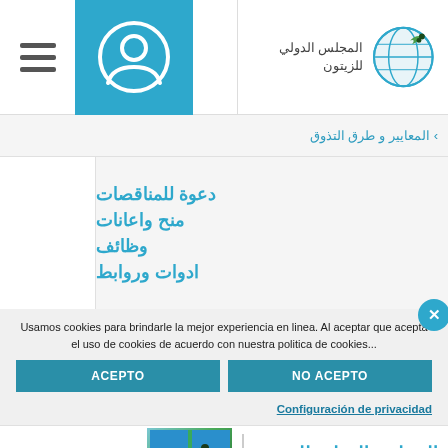[Figure (screenshot): Website header with hamburger menu, user icon in teal box, and International Olive Council logo with Arabic text المجلس الدولي للزيتون]
المعايير و طرق التذوق
دعوة للمناقصات
منح واعانات
وظائف
ادوات وروابط
Usamos cookies para brindarle la mejor experiencia en linea. Al aceptar que acepta el uso de cookies de acuerdo con nuestra politica de cookies...
ACEPTO
NO ACEPTO
Configuración de privacidad
المجلس الدولي للزيتون